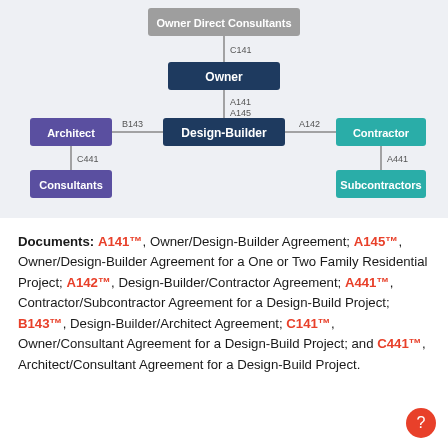[Figure (organizational-chart): Organizational chart showing relationships between Owner Direct Consultants, Owner, Design-Builder, Architect, Contractor, Consultants, and Subcontractors with labeled contract connections (C141, A141, A145, B143, A142, C441, A441).]
Documents: A141™, Owner/Design-Builder Agreement; A145™, Owner/Design-Builder Agreement for a One or Two Family Residential Project; A142™, Design-Builder/Contractor Agreement; A441™, Contractor/Subcontractor Agreement for a Design-Build Project; B143™, Design-Builder/Architect Agreement; C141™, Owner/Consultant Agreement for a Design-Build Project; and C441™, Architect/Consultant Agreement for a Design-Build Project.